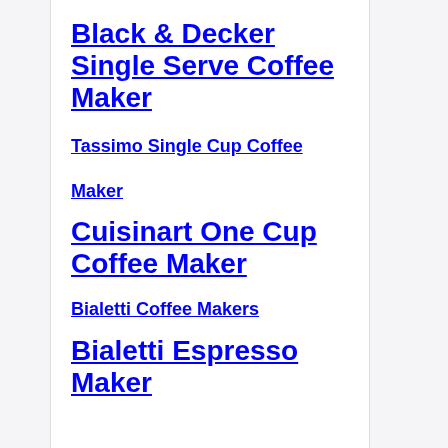Black & Decker Single Serve Coffee Maker
Tassimo Single Cup Coffee Maker
Cuisinart One Cup Coffee Maker
Bialetti Coffee Makers
Bialetti Espresso Maker